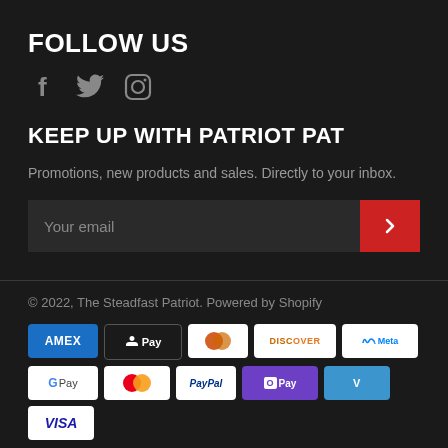FOLLOW US
[Figure (illustration): Social media icons: Facebook (f), Twitter (bird), Instagram (camera)]
KEEP UP WITH PATRIOT PAT
Promotions, new products and sales. Directly to your inbox.
Your email [input field with red submit button]
© 2022, The Steadfast Patriot. Powered by Shopify
[Figure (illustration): Payment method icons: Amex, Apple Pay, Diners Club, Discover, Meta Pay, Google Pay, Mastercard, PayPal, Shop Pay, Venmo, Visa]